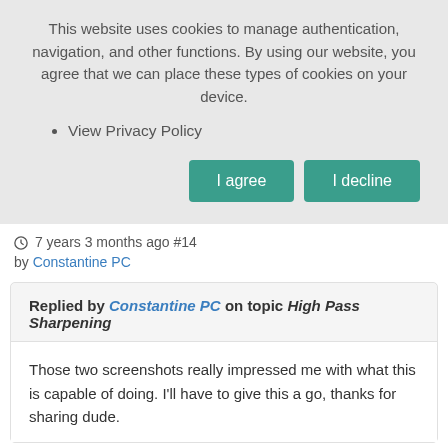This website uses cookies to manage authentication, navigation, and other functions. By using our website, you agree that we can place these types of cookies on your device.
View Privacy Policy
[Figure (screenshot): Two buttons: 'I agree' and 'I decline', both styled in teal/green color]
7 years 3 months ago #14
by Constantine PC
Replied by Constantine PC on topic High Pass Sharpening
Those two screenshots really impressed me with what this is capable of doing. I'll have to give this a go, thanks for sharing dude.